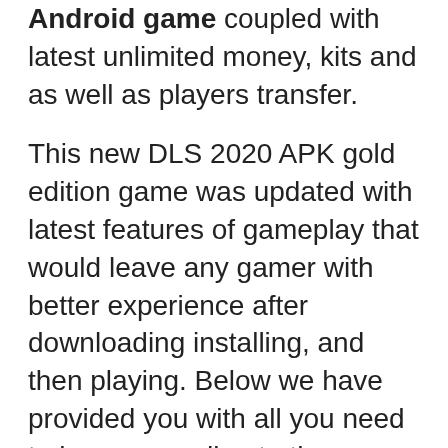Android game coupled with latest unlimited money, kits and as well as players transfer.
This new DLS 2020 APK gold edition game was updated with latest features of gameplay that would leave any gamer with better experience after downloading installing, and then playing. Below we have provided you with all you need to know regarding to the specification of this game as well as the direct download links to the apk files and obb.
This latest dream league soccer gold edition 2020 is embedded with a Golden...